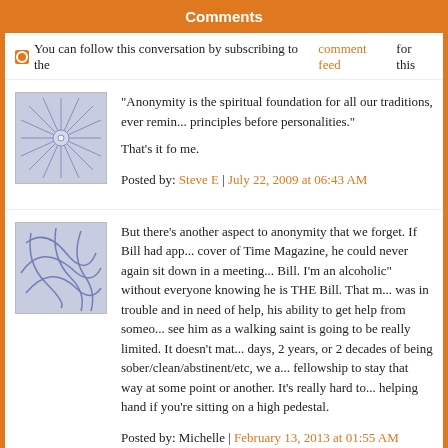Comments
You can follow this conversation by subscribing to the comment feed for this
[Figure (illustration): Avatar image with geometric star/snowflake pattern in blue-gray tones]
"Anonymity is the spiritual foundation for all our traditions, ever remi... principles before personalities."

That's it fo me.

Posted by: Steve E | July 22, 2009 at 06:43 AM
[Figure (illustration): Avatar image with abstract curved lines pattern in blue-gray tones]
But there's another aspect to anonymity that we forget. If Bill had app... cover of Time Magazine, he could never again sit down in a meeting... Bill. I'm an alcoholic" without everyone knowing he is THE Bill. That m... was in trouble and in need of help, his ability to get help from someo... see him as a walking saint is going to be really limited. It doesn't mat... days, 2 years, or 2 decades of being sober/clean/abstinent/etc, we a... fellowship to stay that way at some point or another. It's really hard to... helping hand if you're sitting on a high pedestal.

Posted by: Michelle | February 13, 2013 at 01:55 AM
The comments to this entry are closed.